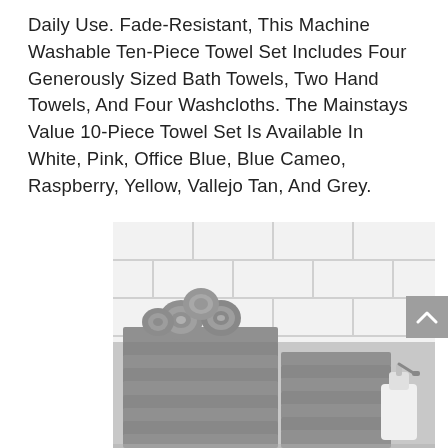Daily Use. Fade-Resistant, This Machine Washable Ten-Piece Towel Set Includes Four Generously Sized Bath Towels, Two Hand Towels, And Four Washcloths. The Mainstays Value 10-Piece Towel Set Is Available In White, Pink, Office Blue, Blue Cameo, Raspberry, Yellow, Vallejo Tan, And Grey.
[Figure (photo): Black and white photo of stacked and rolled grey towels arranged on a surface in front of a white subway tile wall, with a soap dispenser visible on the right side.]